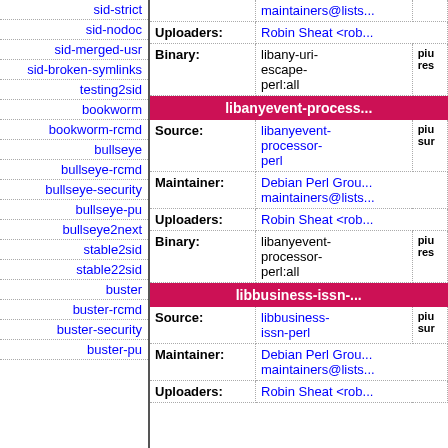sid-strict
sid-nodoc
sid-merged-usr
sid-broken-symlinks
testing2sid
bookworm
bookworm-rcmd
bullseye
bullseye-rcmd
bullseye-security
bullseye-pu
bullseye2next
stable2sid
stable22sid
buster
buster-rcmd
buster-security
buster-pu
| Field | Value | Extra |
| --- | --- | --- |
| Uploaders: | Robin Sheat <rob... |  |
| Binary: | libany-uri-escape-perl:all | piu res |
| [libanyevent-process...] |  |  |
| Source: | libanyevent-processor-perl | piu sur |
| Maintainer: | Debian Perl Group maintainers@lists... |  |
| Uploaders: | Robin Sheat <rob... |  |
| Binary: | libanyevent-processor-perl:all | piu res |
| [libbusiness-issn-...] |  |  |
| Source: | libbusiness-issn-perl | piu sur |
| Maintainer: | Debian Perl Group maintainers@lists... |  |
| Uploaders: | Robin Sheat <rob... |  |